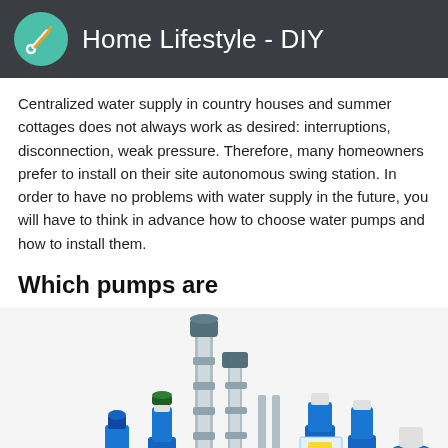Home Lifestyle - DIY
Centralized water supply in country houses and summer cottages does not always work as desired: interruptions, disconnection, weak pressure. Therefore, many homeowners prefer to install on their site autonomous swing station. In order to have no problems with water supply in the future, you will have to think in advance how to choose water pumps and how to install them.
Which pumps are
[Figure (photo): Collection of various water pumps including submersible, vertical multistage, and pressure booster pumps in blue and stainless steel finishes arranged together]